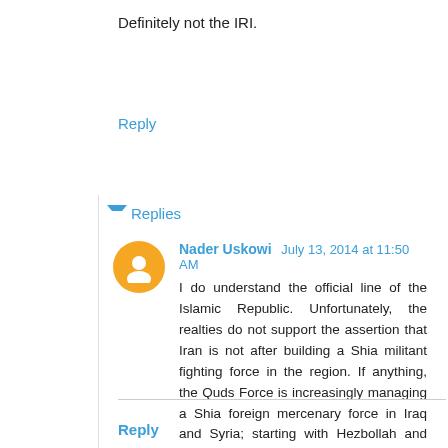Definitely not the IRI.
Reply
Replies
Nader Uskowi  July 13, 2014 at 11:50 AM
I do understand the official line of the Islamic Republic. Unfortunately, the realties do not support the assertion that Iran is not after building a Shia militant fighting force in the region. If anything, the Quds Force is increasingly managing a Shia foreign mercenary force in Iraq and Syria; starting with Hezbollah and now all Shia militias fighting in Iraq and Syria. The actions of countries speak much louder than their propaganda. Talking about parroting some foreign country's MSM!
Reply